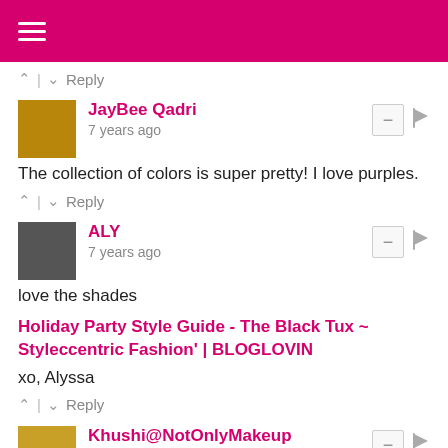≡
^ | v  Reply
JayBee Qadri
7 years ago
The collection of colors is super pretty! I love purples.
^ | v  Reply
ALY
7 years ago
love the shades
Holiday Party Style Guide - The Black Tux ~ Styleccentric Fashion' | BLOGLOVIN
xo, Alyssa
^ | v  Reply
Khushi@NotOnlyMakeup
7 years ago
Oh my my, these look amazing. wat pigmentation and colors. m blown